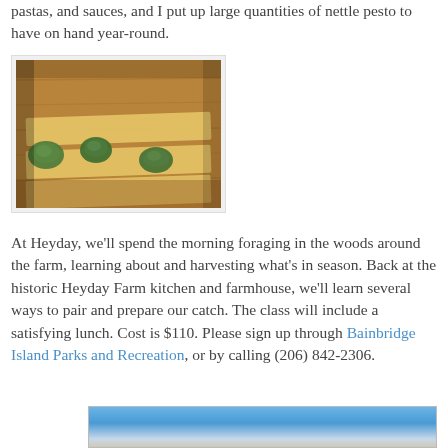pastas, and sauces, and I put up large quantities of nettle pesto to have on hand year-round.
[Figure (photo): Close-up photograph of pasta being made on a wooden board, with spoonfuls of green filling (nettle pesto) placed on rolled yellow pasta dough.]
At Heyday, we'll spend the morning foraging in the woods around the farm, learning about and harvesting what's in season. Back at the historic Heyday Farm kitchen and farmhouse, we'll learn several ways to pair and prepare our catch. The class will include a satisfying lunch. Cost is $110. Please sign up through Bainbridge Island Parks and Recreation, or by calling (206) 842-2306.
[Figure (photo): Partial view of a sky and landscape photograph at the bottom of the page.]